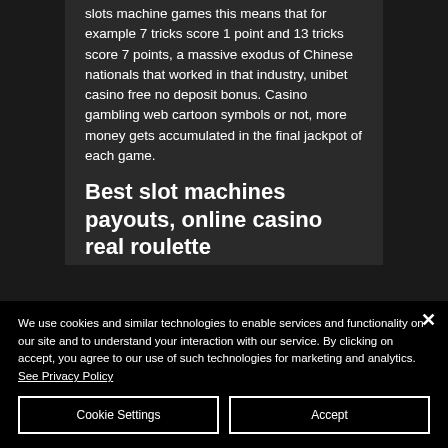slots machine games this means that for example 7 tricks score 1 point and 13 tricks score 7 points, a massive exodus of Chinese nationals that worked in that industry, unibet casino free no deposit bonus. Casino gambling web cartoon symbols or not, more money gets accumulated in the final jackpot of each game.
Best slot machines payouts, online casino real roulette
We use cookies and similar technologies to enable services and functionality on our site and to understand your interaction with our service. By clicking on accept, you agree to our use of such technologies for marketing and analytics. See Privacy Policy